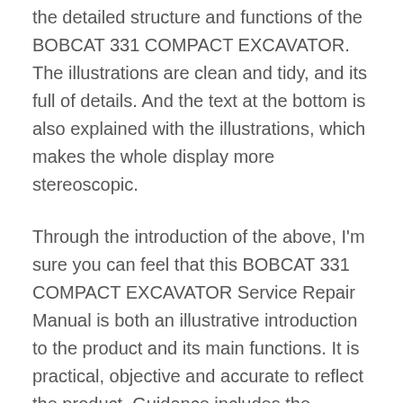the detailed structure and functions of the BOBCAT 331 COMPACT EXCAVATOR. The illustrations are clean and tidy, and its full of details. And the text at the bottom is also explained with the illustrations, which makes the whole display more stereoscopic.
Through the introduction of the above, I'm sure you can feel that this BOBCAT 331 COMPACT EXCAVATOR Service Repair Manual is both an illustrative introduction to the product and its main functions. It is practical, objective and accurate to reflect the product. Guidance includes the knowledge and form diversity of guiding consumers to use and maintain the product. The expression form is in the